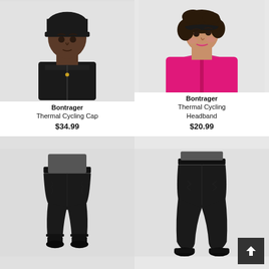[Figure (photo): Man wearing black Bontrager thermal cycling cap, dressed in black cycling jersey, light gray background]
Bontrager
Thermal Cycling Cap
$34.99
[Figure (photo): Woman wearing black Bontrager thermal cycling headband, wearing bright pink/magenta cycling jacket, light gray background]
Bontrager
Thermal Cycling Headband
$20.99
[Figure (photo): Person wearing black Bontrager 3/4 length cycling tights, rear/back view, light gray background]
[Figure (photo): Person wearing black Bontrager full-length cycling tights, front view, light gray background]